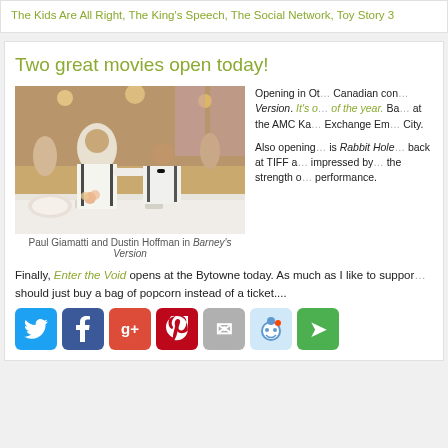The Kids Are All Right, The King's Speech, The Social Network, Toy Story 3
Two great movies open today!
[Figure (photo): Paul Giamatti and Dustin Hoffman in Barney's Version - two men in white shirts and suspenders at a banquet table]
Paul Giamatti and Dustin Hoffman in Barney's Version
Opening in Ot... Canadian con... Version. It's o... of the year. Ba... at the AMC Ka... Exchange Em... City. Also opening ... is Rabbit Hole... back at TIFF a... impressed by... the strength o... performance.
Finally, Enter the Void opens at the Bytowne today. As much as I like to suppor... should just buy a bag of popcorn instead of a ticket....